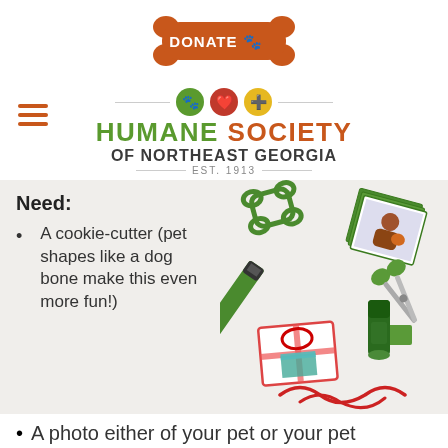[Figure (logo): Orange bone-shaped donate button with white text 'DONATE' and paw print icon]
[Figure (logo): Humane Society of Northeast Georgia logo with paw, heart and medical cross icons in colored circles, green and orange text, EST. 1913]
Need:
[Figure (illustration): Craft supplies illustration: green bone cookie cutter, green marker/pen, stack of photos, scissors, gift card, glue stick, ribbon]
A cookie-cutter (pet shapes like a dog bone make this even more fun!)
A photo either of your pet or your pet